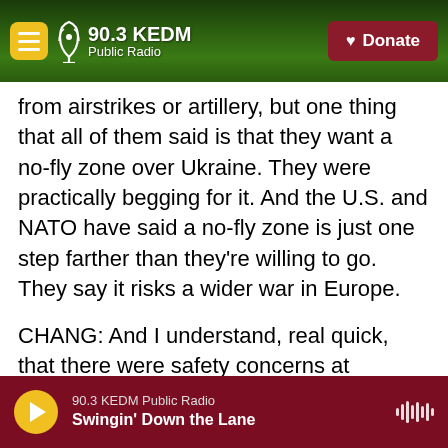90.3 KEDM Public Radio — Donate
from airstrikes or artillery, but one thing that all of them said is that they want a no-fly zone over Ukraine. They were practically begging for it. And the U.S. and NATO have said a no-fly zone is just one step farther than they're willing to go. They say it risks a wider war in Europe.
CHANG: And I understand, real quick, that there were safety concerns at Chernobyl, which was the site of the world's worst nuclear disaster back in 1986. What happened there today?
FRAYER: So the plant lost power, but basically
90.3 KEDM Public Radio — Swingin' Down the Lane